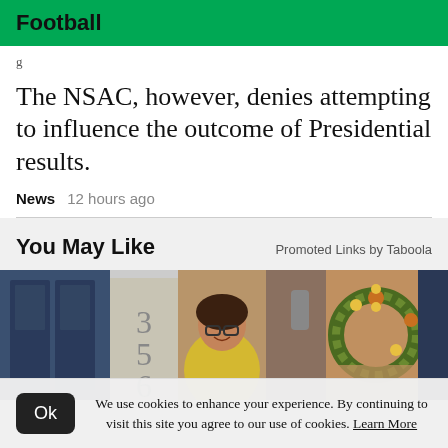Football
The NSAC, however, denies attempting to influence the outcome of Presidential results.
News   12 hours ago
You May Like
Promoted Links by Taboola
[Figure (photo): Strip of promotional images showing a blue door, house numbers (356), a woman in yellow shirt with glasses, a flower wreath on a door, and another blue door]
We use cookies to enhance your experience. By continuing to visit this site you agree to our use of cookies. Learn More